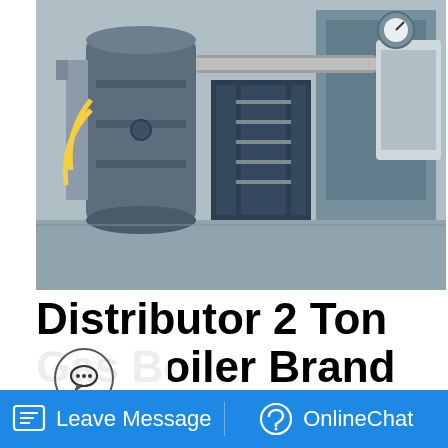[Figure (photo): Industrial gas boiler room with large cylindrical boiler tanks, pipes, stairs and metal structures in a factory setting]
Distributor 2 Ton Gas Boiler Brand Tajikistan
Agent Price Commercial Boiler Plant 10 Ton Azerbaijan. Boiler Brand Agent Price 6t Uzbekistan Seller 6 Ton Oil Boiler Plant Tajikistan fully automatic 100kg firewood laundry steam boiler Agent 2t gas boiler Commercial Price Indonesia. 6 ton 10 ton Industrial Coal Fired Posted prices 3t gas for sale 6t fired 8t gas for. Read More